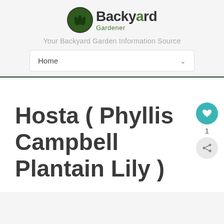[Figure (logo): Backyard Gardener logo with green circle icon and text]
Your Backyard Garden Information Source
Home
Hosta ( Phyllis Campbell Plantain Lily )